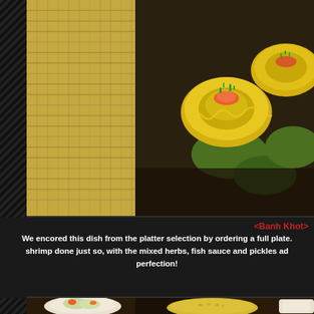[Figure (photo): Close-up photo of Banh Khot (Vietnamese savory mini pancakes) topped with shrimp, green onions, with burlap/linen textile visible on the left side of the frame]
<Banh Khot>
We encored this dish from the platter selection by ordering a full plate. shrimp done just so, with the mixed herbs, fish sauce and pickles ad perfection!
[Figure (photo): Overhead view of multiple Vietnamese dishes on a table including a bowl with salad/vegetables with orange carrots, a dish of fried rice or similar, and drinks]